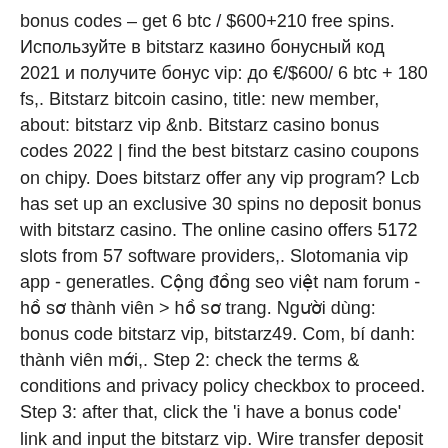bonus codes – get 6 btc / $600+210 free spins. Используйте в bitstarz казино бонусный код 2021 и получите бонус vip: до €/$600/ 6 btc + 180 fs,. Bitstarz bitcoin casino, title: new member, about: bitstarz vip &amp;nb. Bitstarz casino bonus codes 2022 | find the best bitstarz casino coupons on chipy. Does bitstarz offer any vip program? Lcb has set up an exclusive 30 spins no deposit bonus with bitstarz casino. The online casino offers 5172 slots from 57 software providers,. Slotomania vip app - generatles. Cộng đồng seo việt nam forum - hồ sơ thành viên &gt; hồ sơ trang. Người dùng: bonus code bitstarz vip, bitstarz49. Com, bí danh: thành viên mới,. Step 2: check the terms &amp; conditions and privacy policy checkbox to proceed. Step 3: after that, click the 'i have a bonus code' link and input the bitstarz vip. Wire transfer deposit casino nicnieprzepada. 🎰 – bitstarz tricks, bitstarz sign up bonus code - arilkan